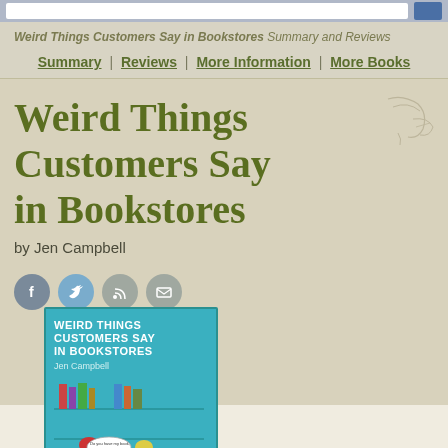Weird Things Customers Say in Bookstores Summary and Reviews
Summary | Reviews | More Information | More Books
Weird Things Customers Say in Bookstores
by Jen Campbell
[Figure (illustration): Social share icons: Facebook, Twitter, RSS, Email]
[Figure (photo): Book cover of Weird Things Customers Say in Bookstores by Jen Campbell, teal/cyan background with illustrated characters]